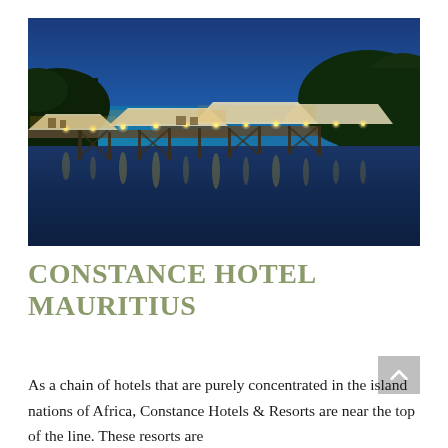[Figure (photo): Twilight/dusk photograph of a resort pier restaurant over a calm lagoon. Wooden walkways and pavilions with white umbrella-style tent roofs are strung with warm golden lights. The sky transitions from deep blue at top to teal-green near the horizon. Lush green trees are visible on the right. The lights and structures reflect in the still dark water below.]
CONSTANCE HOTEL MAURITIUS
As a chain of hotels that are purely concentrated in the island nations of Africa, Constance Hotels & Resorts are near the top of the line. These resorts are